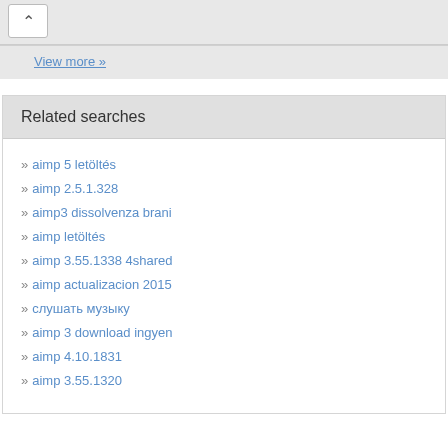View more »
Related searches
» aimp 5 letöltés
» aimp 2.5.1.328
» aimp3 dissolvenza brani
» aimp letöltés
» aimp 3.55.1338 4shared
» aimp actualizacion 2015
» слушать музыку
» aimp 3 download ingyen
» aimp 4.10.1831
» aimp 3.55.1320